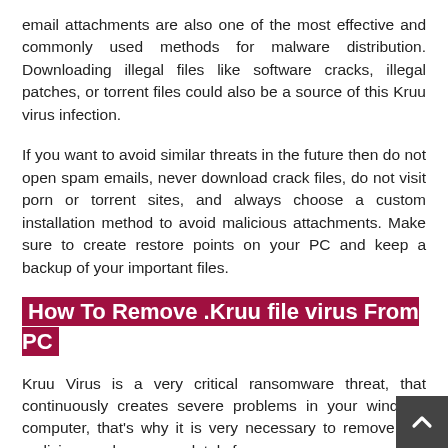email attachments are also one of the most effective and commonly used methods for malware distribution. Downloading illegal files like software cracks, illegal patches, or torrent files could also be a source of this Kruu virus infection.
If you want to avoid similar threats in the future then do not open spam emails, never download crack files, do not visit porn or torrent sites, and always choose a custom installation method to avoid malicious attachments. Make sure to create restore points on your PC and keep a backup of your important files.
How To Remove .Kruu file virus From PC
Kruu Virus is a very critical ransomware threat, that continuously creates severe problems in your windows computer, that's why it is very necessary to remove this malicious malware completely from your mac